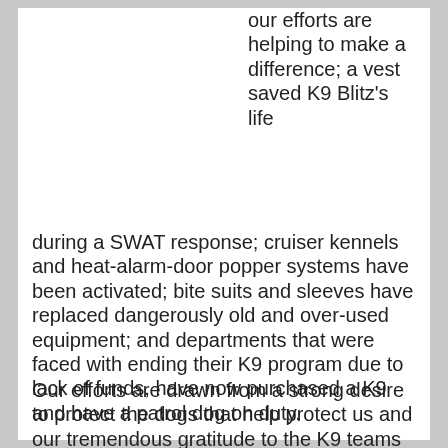our efforts are helping to make a difference; a vest saved K9 Blitz's life during a SWAT response; cruiser kennels and heat-alarm-door popper systems have been activated; bite suits and sleeves have replaced dangerously old and over-used equipment; and departments that were faced with ending their K9 program due to lack of funds, have now purchased a K9 and have a patrol dog on duty.
Our efforts are drawn from a strong desire to protect the dogs that help protect us and our tremendous gratitude to the K9 teams who lead the way. I hope you will consider combining your love and respect